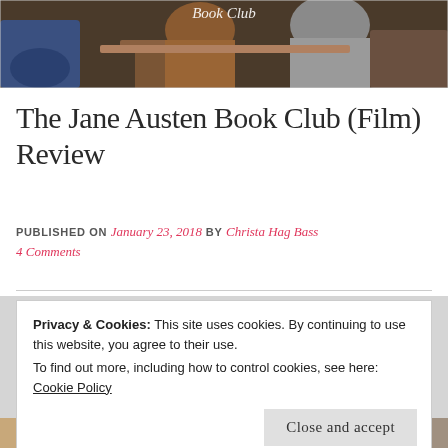[Figure (photo): Top header photo showing people sitting at a book club gathering with 'Book Club' script text overlay visible]
The Jane Austen Book Club (Film) Review
PUBLISHED ON January 23, 2018 by Christa Hag Bass
4 Comments
Privacy & Cookies: This site uses cookies. By continuing to use this website, you agree to their use.
To find out more, including how to control cookies, see here:
Cookie Policy
Close and accept
[Figure (photo): Bottom partial photo strip showing colorful partial scene from the book club film]